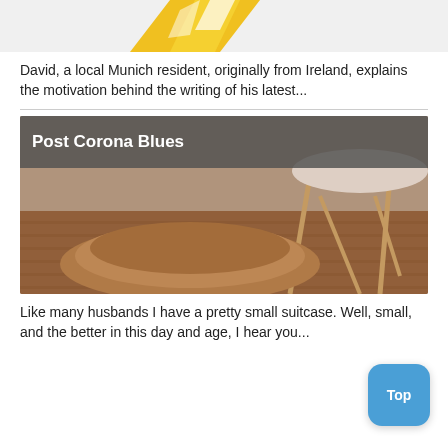[Figure (illustration): Partial top image showing yellow and white diagonal graphic/logo elements on a light background, cropped at top]
David, a local Munich resident, originally from Ireland, explains the motivation behind the writing of his latest...
[Figure (photo): Photo of a brown leather duffel bag on a wooden floor next to a white modern chair. Title overlay reads 'Post Corona Blues' in white bold text on a semi-transparent dark banner.]
Like many husbands I have a pretty small suitcase. Well, small, and the better in this day and age, I hear you...